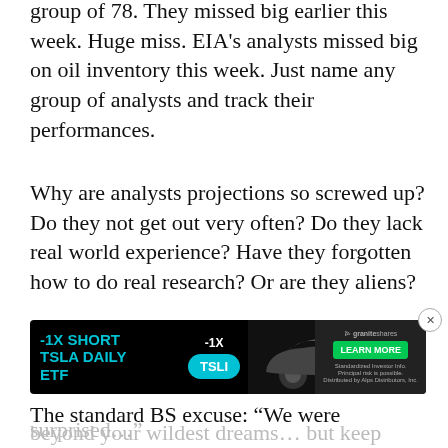group of 78. They missed big earlier this week. Huge miss. EIA's analysts missed big on oil inventory this week. Just name any group of analysts and track their performances.
Why are analysts projections so screwed up? Do they not get out very often? Do they lack real world experience? Have they forgotten how to do real research? Or are they aliens?
It's a pathetic state of affairs.
The standard BS excuse: “We were surprised…”
[Figure (infographic): Advertisement banner for -1X SHORT TSLA DAILY ETF (ticker TSLI) by GraniteShares, showing a Tesla car image, cyan badge with -1X and TSLI label, and a green LEARN MORE button.]
beyond your wildest dreams… but keep